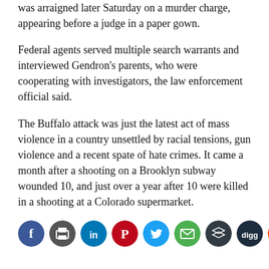was arraigned later Saturday on a murder charge, appearing before a judge in a paper gown.
Federal agents served multiple search warrants and interviewed Gendron's parents, who were cooperating with investigators, the law enforcement official said.
The Buffalo attack was just the latest act of mass violence in a country unsettled by racial tensions, gun violence and a recent spate of hate crimes. It came a month after a shooting on a Brooklyn subway wounded 10, and just over a year after 10 were killed in a shooting at a Colorado supermarket.
[Figure (other): Social media share buttons: Facebook, Print, LinkedIn, Pinterest, Twitter, Email, Buffer, Digg, Reddit, StumbleUpon, Yummly]